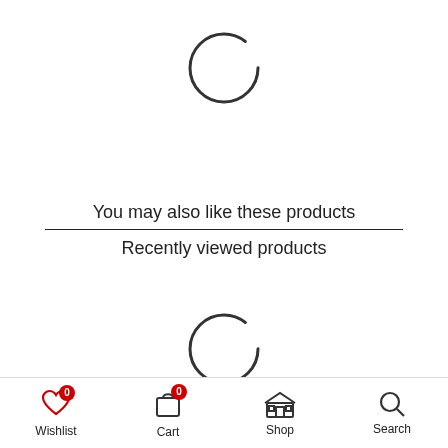[Figure (other): Circular loading spinner (top), partially drawn circle arc in dark gray]
You may also like these products
Recently viewed products
[Figure (other): Circular loading spinner (bottom), partially drawn circle arc in dark gray]
Wishlist  Cart  Shop  Search